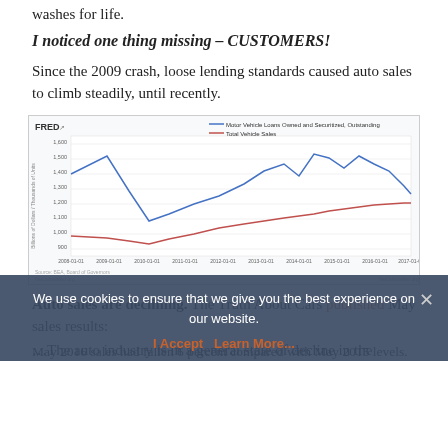washes for life.
I noticed one thing missing – CUSTOMERS!
Since the 2009 crash, loose lending standards caused auto sales to climb steadily, until recently.
[Figure (line-chart): FRED chart showing two line series: Motor Vehicle Loans (red, rising trend) and Total Vehicle Sales (blue, volatile with peak and recent decline), from 2008 to 2017.]
Auto sales are declining. The Truth About Cars published May sales results:
May 2016 sales had fallen 6 percent compared with May 2015 levels.
…The auto industry is in a general state of decline in the